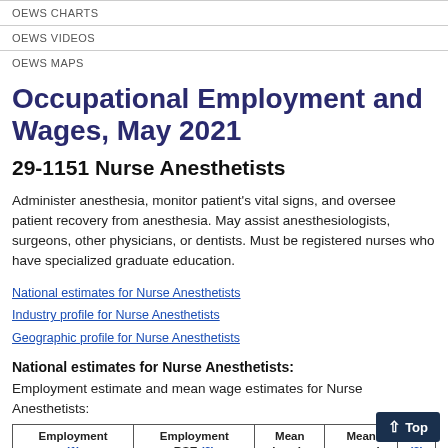OEWS CHARTS
OEWS VIDEOS
OEWS MAPS
Occupational Employment and Wages, May 2021
29-1151 Nurse Anesthetists
Administer anesthesia, monitor patient's vital signs, and oversee patient recovery from anesthesia. May assist anesthesiologists, surgeons, other physicians, or dentists. Must be registered nurses who have specialized graduate education.
National estimates for Nurse Anesthetists
Industry profile for Nurse Anesthetists
Geographic profile for Nurse Anesthetists
National estimates for Nurse Anesthetists:
Employment estimate and mean wage estimates for Nurse Anesthetists:
| Employment (1) | Employment RSE (2) | Mean hourly wage | Mean annual wage | W... (2) |
| --- | --- | --- | --- | --- |